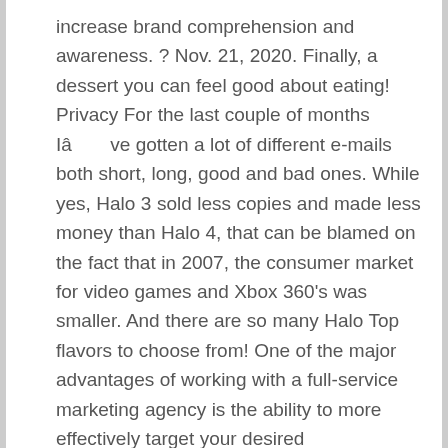increase brand comprehension and awareness. ? Nov. 21, 2020. Finally, a dessert you can feel good about eating!  Privacy For the last couple of months Iâve gotten a lot of different e-mails both short, long, good and bad ones. While yes, Halo 3 sold less copies and made less money than Halo 4, that can be blamed on the fact that in 2007, the consumer market for video games and Xbox 360's was smaller. And there are so many Halo Top flavors to choose from! One of the major advantages of working with a full-service marketing agency is the ability to more effectively target your desired demographics. Gratitude in the workplace: How gratitude can improve your well-being and relationships Halo Top Creamery Halo Top ice cream, better known as âguilt-freeâ ice cream by CEO Justin Woolverton, is the trendiest brand of ice cream to hit